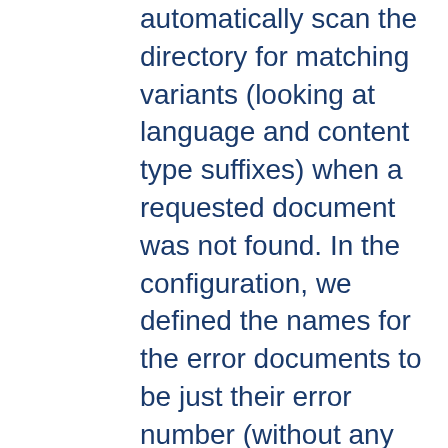automatically scan the directory for matching variants (looking at language and content type suffixes) when a requested document was not found. In the configuration, we defined the names for the error documents to be just their error number (without any suffix).
The names of the individual error documents are now determined like this (I'm using 403 as an example, think of it as a placeholder for any of the configured error documents):
No file errordocs/403